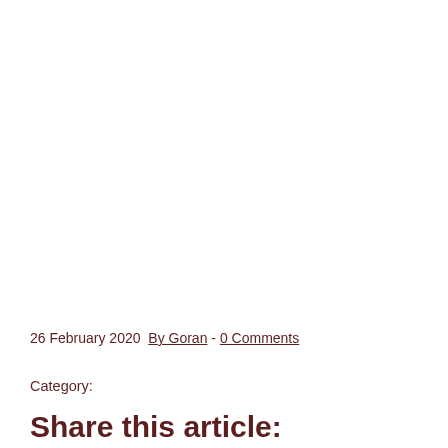26 February 2020  By Goran  -  0 Comments
Category:
Share this article: